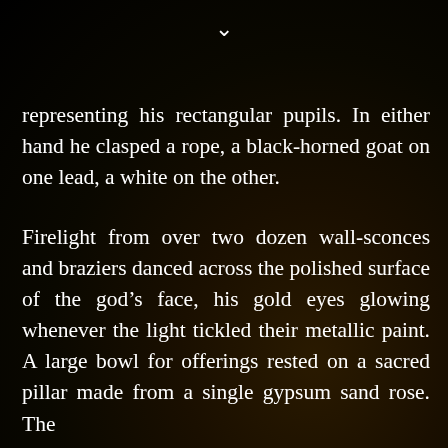[Figure (illustration): Dark background with a downward-pointing chevron/arrow icon in white at the top center, suggesting a scrollable e-reader interface. The background has a dark brownish-black gradient suggesting a dimly lit scene.]
representing his rectangular pupils. In either hand he clasped a rope, a black-horned goat on one lead, a white on the other.
Firelight from over two dozen wall-sconces and braziers danced across the polished surface of the god’s face, his gold eyes glowing whenever the light tickled their metallic paint. A large bowl for offerings rested on a sacred pillar made from a single gypsum sand rose. The